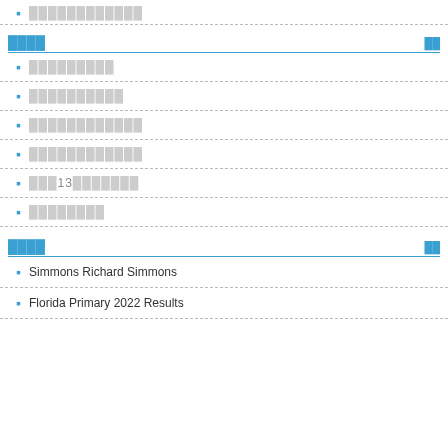████████████
████
█████████
██████████
████████████
████████████
███13███████
████████
████
Simmons Richard Simmons
Florida Primary 2022 Results